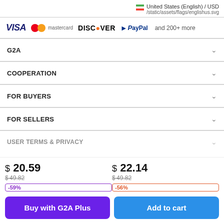United States (English) / USD
/static/assets/flags/englishus.svg
[Figure (logo): Payment method logos: VISA, Mastercard, DISCOVER, PayPal and 200+ more]
G2A
COOPERATION
FOR BUYERS
FOR SELLERS
USER TERMS & PRIVACY
$ 20.59
$49.82
-59%
$ 22.14
$49.82
-56%
Buy with G2A Plus
Add to cart